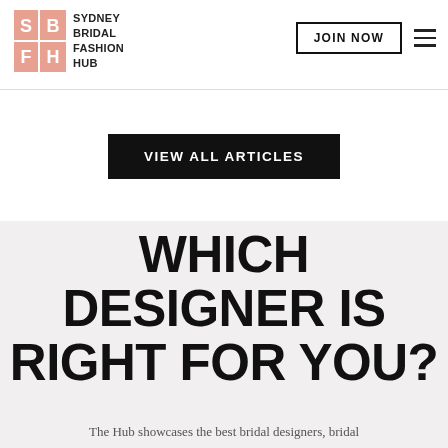SYDNEY BRIDAL FASHION HUB | JOIN NOW
VIEW ALL ARTICLES
WHICH DESIGNER IS RIGHT FOR YOU?
The Hub showcases the best bridal designers, bridal